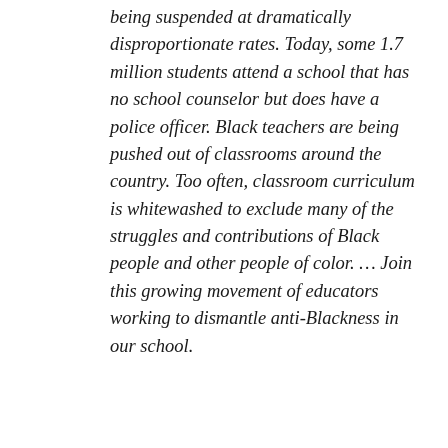being suspended at dramatically disproportionate rates. Today, some 1.7 million students attend a school that has no school counselor but does have a police officer. Black teachers are being pushed out of classrooms around the country. Too often, classroom curriculum is whitewashed to exclude many of the struggles and contributions of Black people and other people of color. … Join this growing movement of educators working to dismantle anti-Blackness in our school.